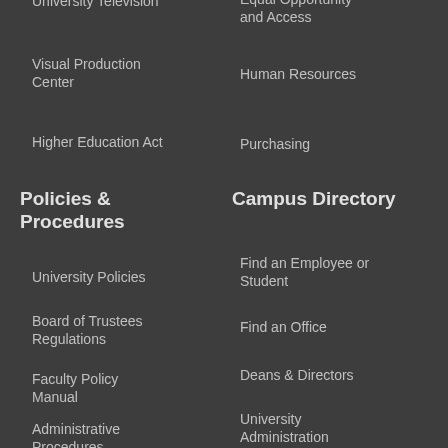University Television
Visual Production Center
Higher Education Act
Policies & Procedures
University Policies
Board of Trustees Regulations
Faculty Policy Manual
Administrative Procedures Handbook
Civil Service
Equal Opportunity and Access
Human Resources
Purchasing
Campus Directory
Find an Employee or Student
Find an Office
Deans & Directors
University Administration